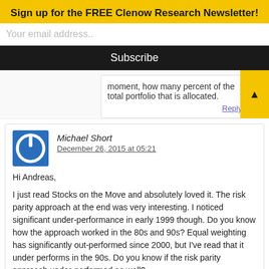Sign up for the FREE Clenow Research Newsletter!
Your email address..
Subscribe
moment, how many percent of the total portfolio that is allocated.
Reply
Michael Short
December 26, 2015 at 05:21
Hi Andreas,

I just read Stocks on the Move and absolutely loved it. The risk parity approach at the end was very interesting. I noticed significant under-performance in early 1999 though. Do you know how the approach worked in the 80s and 90s? Equal weighting has significantly out-performed since 2000, but I've read that it under performs in the 90s. Do you know if the risk parity approach under-performed as well?